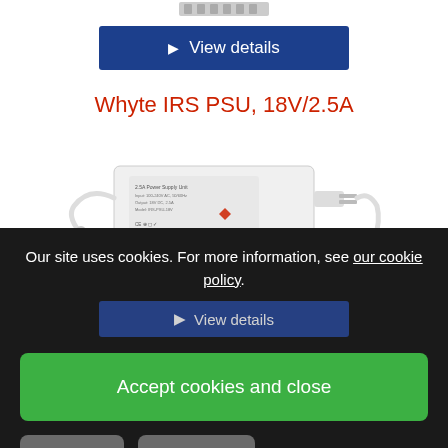[Figure (photo): Partial top view of a product (cut off at top of page)]
[Figure (other): Blue 'View details' button with play arrow icon]
Whyte IRS PSU, 18V/2.5A
[Figure (photo): Whyte IRS PSU 18V/2.5A power supply unit, white rectangular device with cables and connectors]
Our site uses cookies. For more information, see our cookie policy.
[Figure (other): Partially visible blue 'View details' button behind cookie overlay]
Accept cookies and close
Reject cookies
Manage settings